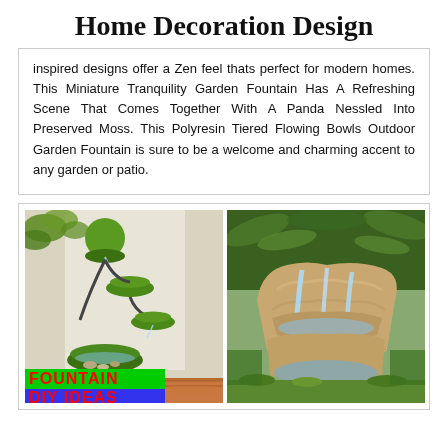Home Decoration Design
inspired designs offer a Zen feel thats perfect for modern homes. This Miniature Tranquility Garden Fountain Has A Refreshing Scene That Comes Together With A Panda Nessled Into Preserved Moss. This Polyresin Tiered Flowing Bowls Outdoor Garden Fountain is sure to be a welcome and charming accent to any garden or patio.
[Figure (photo): Left: Green tiered flowing bowls garden fountain with metal stand and text overlay 'FOUNTAIN DIY IDEAS'. Right: Stone waterfall garden fountain with tropical plants in background.]